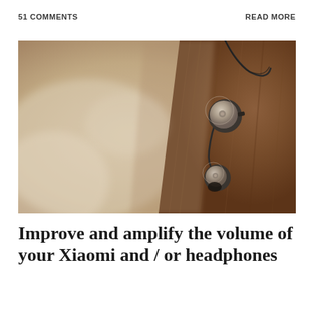51 COMMENTS
READ MORE
[Figure (photo): Close-up photo of in-ear earphones (earbuds) with metallic disc-shaped housings resting against a wooden surface, with a blurred warm-toned background.]
Improve and amplify the volume of your Xiaomi and / or headphones